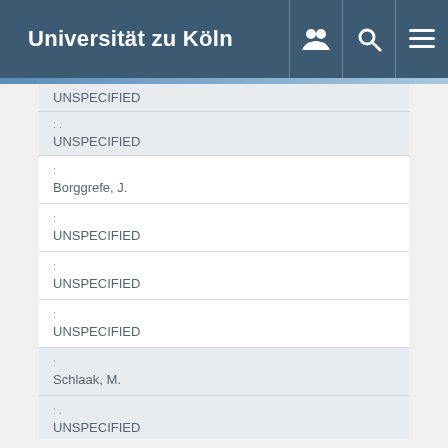Universität zu Köln
| Label | Value |
| --- | --- |
| : | UNSPECIFIED |
| :. | UNSPECIFIED |
| : | Borggrefe, J. |
| : | UNSPECIFIED |
| : | UNSPECIFIED |
| : | UNSPECIFIED |
| : | Schlaak, M. |
| :. | UNSPECIFIED |